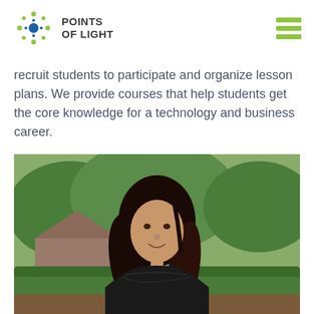[Figure (logo): Points of Light logo with star/dot symbol and text 'POINTS OF LIGHT']
recruit students to participate and organize lesson plans. We provide courses that help students get the core knowledge for a technology and business career.
[Figure (photo): Young woman with long dark hair, smiling, wearing a black off-shoulder top, standing outdoors in front of green hedges and a house]